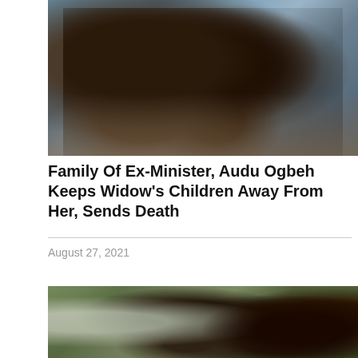[Figure (photo): Two people seated together on a sofa, wearing blue patterned fabric clothing]
Family Of Ex-Minister, Audu Ogbeh Keeps Widow's Children Away From Her, Sends Death
August 27, 2021
[Figure (photo): A person wearing a face mask with hands clasped together, outdoors]